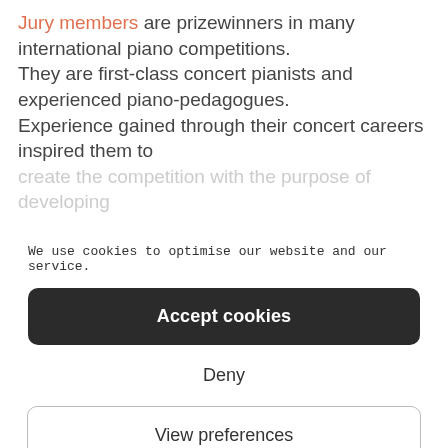Jury members are prizewinners in many international piano competitions. They are first-class concert pianists and experienced piano-pedagogues. Experience gained through their concert careers inspired them to
We use cookies to optimise our website and our service.
Accept cookies
Deny
View preferences
Cookie Policy   Privacy Statement